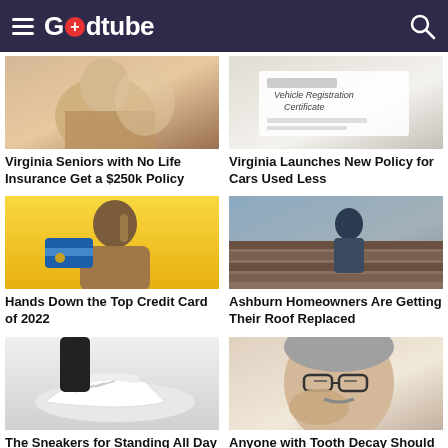Godtube
[Figure (photo): Elderly person with hands near face]
Virginia Seniors with No Life Insurance Get a $250k Policy
[Figure (photo): Vehicle Registration Certificate document]
Virginia Launches New Policy for Cars Used Less
[Figure (photo): Young man holding blue credit card on yellow background]
Hands Down the Top Credit Card of 2022
[Figure (photo): Worker replacing roof on house]
Ashburn Homeowners Are Getting Their Roof Replaced
[Figure (photo): Person wearing white sneakers]
The Sneakers for Standing All Day Without Discomfort
[Figure (photo): Older man with glasses touching face]
Anyone with Tooth Decay Should Watch This (They…